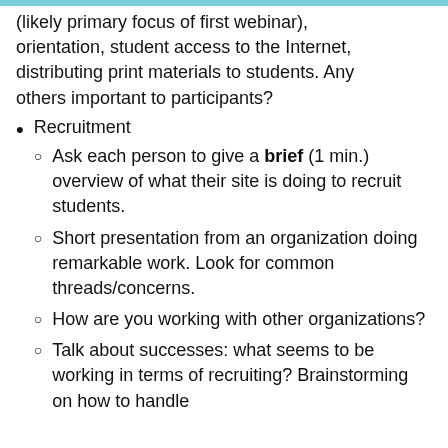(likely primary focus of first webinar), orientation, student access to the Internet, distributing print materials to students. Any others important to participants?
Recruitment
Ask each person to give a brief (1 min.) overview of what their site is doing to recruit students.
Short presentation from an organization doing remarkable work. Look for common threads/concerns.
How are you working with other organizations?
Talk about successes: what seems to be working in terms of recruiting? Brainstorming on how to handle